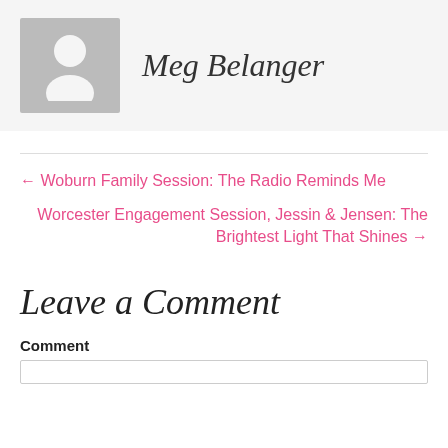[Figure (photo): Grey placeholder avatar silhouette icon on a light grey background, representing a person profile photo.]
Meg Belanger
← Woburn Family Session: The Radio Reminds Me
Worcester Engagement Session, Jessin & Jensen: The Brightest Light That Shines →
Leave a Comment
Comment